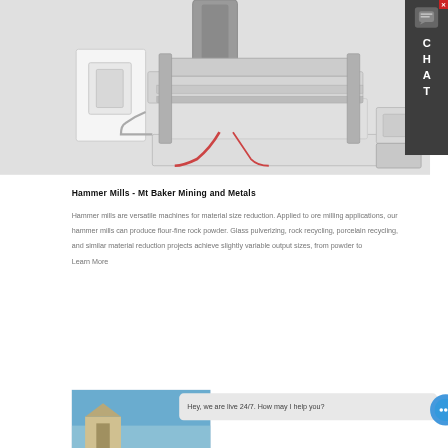[Figure (photo): Industrial hammer mill machine — large white/grey mechanical equipment with cylindrical and flat components, tubes and hydraulic connections, shown with a smaller white control box unit to the left]
Hammer Mills - Mt Baker Mining and Metals
Hammer mills are versatile machines for material size reduction. Applied to ore milling applications, our hammer mills can produce flour-fine rock powder. Glass pulverizing, rock recycling, porcelain recycling, and similar material reduction projects achieve slightly variable output sizes, from powder to
Learn More
[Figure (photo): Bottom partial image showing a building or structure with blue sky]
Hey, we are live 24/7. How may I help you?